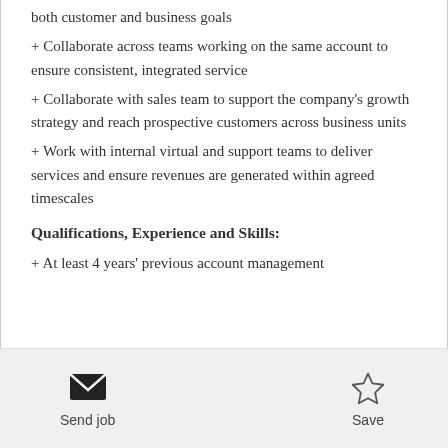both customer and business goals
+ Collaborate across teams working on the same account to ensure consistent, integrated service
+ Collaborate with sales team to support the company's growth strategy and reach prospective customers across business units
+ Work with internal virtual and support teams to deliver services and ensure revenues are generated within agreed timescales
Qualifications, Experience and Skills:
+ At least 4 years' previous account management
Send job  Save